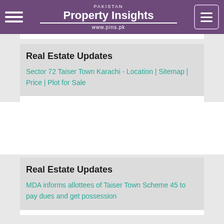PAKISTAN Property Insights www.pins.pk
Real Estate Updates
Sector 72 Taiser Town Karachi - Location | Sitemap | Price | Plot for Sale
Real Estate Updates
MDA informs allottees of Taiser Town Scheme 45 to pay dues and get possession